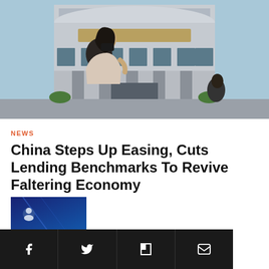[Figure (photo): Woman wearing a black face mask standing in front of the People's Bank of China building, a large curved government building with Chinese characters on the facade.]
NEWS
China Steps Up Easing, Cuts Lending Benchmarks To Revive Faltering Economy
[Figure (photo): Thumbnail image with dark blue background showing additional news content.]
Social sharing bar with Facebook, Twitter, Flipboard, and Email icons